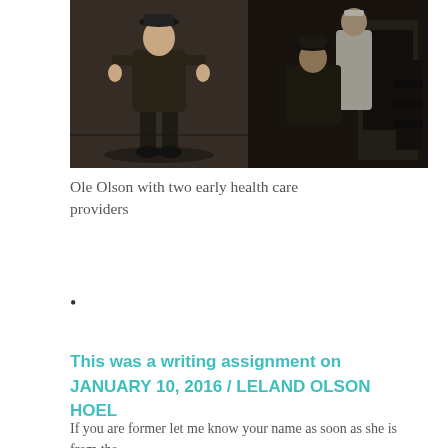[Figure (photo): Two vintage black-and-white photographs side by side: left shows a man standing alone outdoors, right shows two people (one seated, one standing) outdoors]
Ole Olson with two early health care providers
This was a writing assignment on JANUARY 10, 2016 / LELAND OLSON HOEL
If you are former let me know your name as soon as she is from the